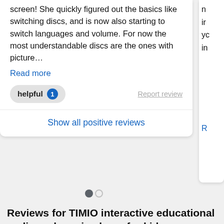screen! She quickly figured out the basics like switching discs, and is now also starting to switch languages and volume. For now the most understandable discs are the ones with picture…
Read more
helpful 1
Report review
Show all positive reviews
Reviews for TIMIO interactive educational audio and music player for kids
Filter ∨
Sort by Latest first ∨
★★★★★ (76) ×